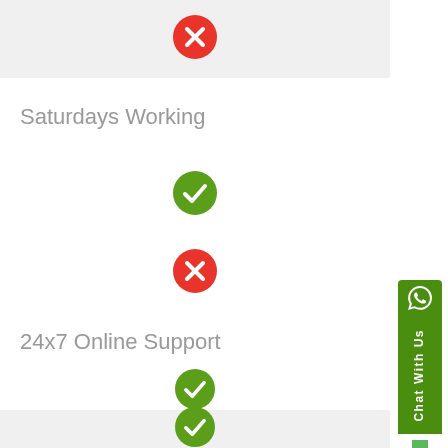[Figure (infographic): Red X circle icon indicating 'No']
Saturdays Working
[Figure (infographic): Green checkmark circle icon indicating 'Yes']
[Figure (infographic): Red X circle icon indicating 'No']
24x7 Online Support
[Figure (infographic): Green checkmark circle icon indicating 'Yes']
[Figure (infographic): Green checkmark circle icon indicating 'Yes' on shaded background]